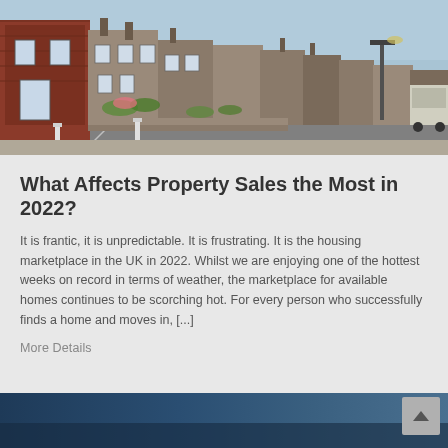[Figure (photo): Photograph of a row of traditional British terraced houses along a street, showing red brick and stone facades, small front gardens with flowers, and a road with white road markings under a blue sky.]
What Affects Property Sales the Most in 2022?
It is frantic, it is unpredictable. It is frustrating. It is the housing marketplace in the UK in 2022. Whilst we are enjoying one of the hottest weeks on record in terms of weather, the marketplace for available homes continues to be scorching hot. For every person who successfully finds a home and moves in, [...]
More Details
[Figure (photo): Partial view of another image at the bottom of the page, showing a dark blue sky or exterior scene.]